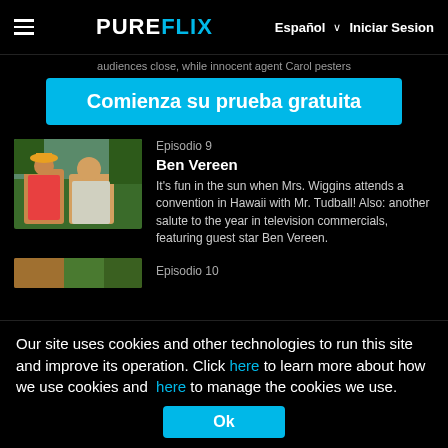PUREFLIX  Español ∨  Iniciar Sesion
audiences close, while innocent agent Carol pesters
Comienza su prueba gratuita
[Figure (photo): Thumbnail image of two people in tropical/Hawaii setting]
Episodio 9
Ben Vereen
It's fun in the sun when Mrs. Wiggins attends a convention in Hawaii with Mr. Tudball! Also: another salute to the year in television commercials, featuring guest star Ben Vereen.
[Figure (photo): Partial thumbnail of another episode]
Episodio 10
Our site uses cookies and other technologies to run this site and improve its operation. Click here to learn more about how we use cookies and here to manage the cookies we use.
Ok